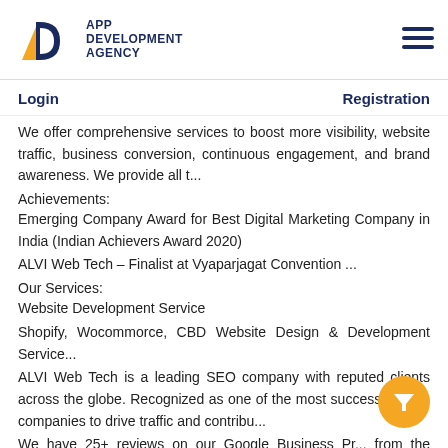APP DEVELOPMENT AGENCY
Login   Registration
We offer comprehensive services to boost more visibility, website traffic, business conversion, continuous engagement, and brand awareness. We provide all t...
Achievements:
Emerging Company Award for Best Digital Marketing Company in India (Indian Achievers Award 2020)
ALVI Web Tech – Finalist at Vyaparjagat Convention ...
Our Services:
Website Development Service
Shopify, Wocommorce, CBD Website Design & Development Service...
ALVI Web Tech is a leading SEO company with reputed clients across the globe. Recognized as one of the most successful SEO companies to drive traffic and contribu...
We have 25+ reviews on our Google Business Pr... from the clients and all are 5-star reviews. You can c... it out over Google.